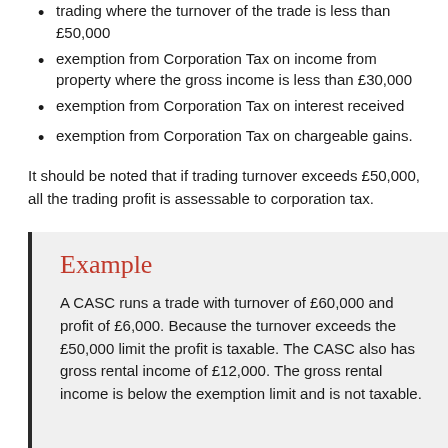trading where the turnover of the trade is less than £50,000
exemption from Corporation Tax on income from property where the gross income is less than £30,000
exemption from Corporation Tax on interest received
exemption from Corporation Tax on chargeable gains.
It should be noted that if trading turnover exceeds £50,000, all the trading profit is assessable to corporation tax.
Example
A CASC runs a trade with turnover of £60,000 and profit of £6,000. Because the turnover exceeds the £50,000 limit the profit is taxable. The CASC also has gross rental income of £12,000. The gross rental income is below the exemption limit and is not taxable.